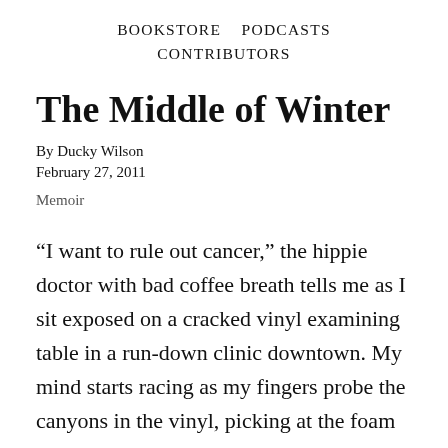BOOKSTORE   PODCASTS
CONTRIBUTORS
The Middle of Winter
By Ducky Wilson
February 27, 2011
Memoir
“I want to rule out cancer,” the hippie doctor with bad coffee breath tells me as I sit exposed on a cracked vinyl examining table in a run-down clinic downtown. My mind starts racing as my fingers probe the canyons in the vinyl, picking at the foam core.